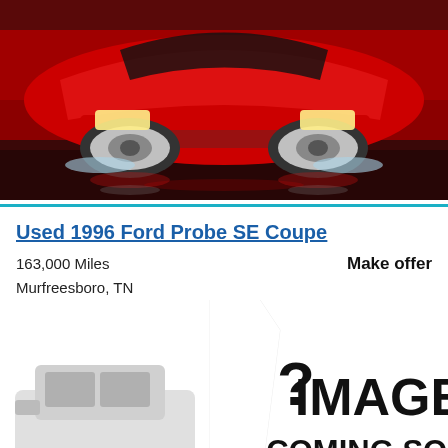[Figure (photo): Red Ford Probe sports car driving on wet road, front-low angle view, water splashing from tires, reflection on wet pavement]
Used 1996 Ford Probe SE Coupe
163,000 Miles
Murfreesboro, TN
Make offer
[Figure (illustration): Placeholder image showing a grey car silhouette with question mark and text IMAGE COMING SOON]